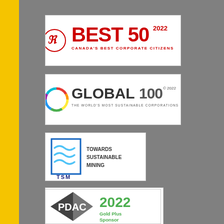[Figure (logo): Best 50 2022 Canada's Best Corporate Citizens logo with red text and decorative red emblem]
[Figure (logo): Global 100 2022 The World's Most Sustainable Corporations logo with colorful circular icon]
[Figure (logo): TSM Towards Sustainable Mining logo with blue wave icon]
[Figure (logo): The Mining Association of Canada / L'association minière du Canada logo with mountain and diamond graphic]
[Figure (logo): PDAC 2022 Gold Plus Sponsor logo with geometric dark and green shapes]